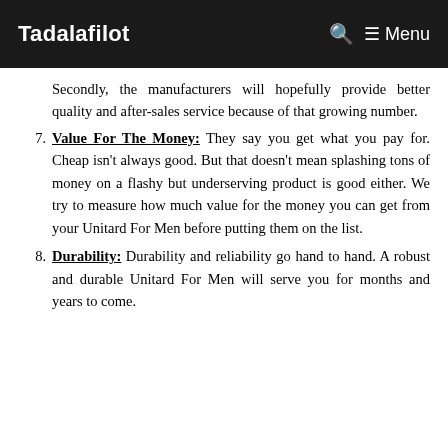Tadalafilot  Menu
Secondly, the manufacturers will hopefully provide better quality and after-sales service because of that growing number.
7. Value For The Money: They say you get what you pay for. Cheap isn't always good. But that doesn't mean splashing tons of money on a flashy but underserving product is good either. We try to measure how much value for the money you can get from your Unitard For Men before putting them on the list.
8. Durability: Durability and reliability go hand to hand. A robust and durable Unitard For Men will serve you for months and years to come.